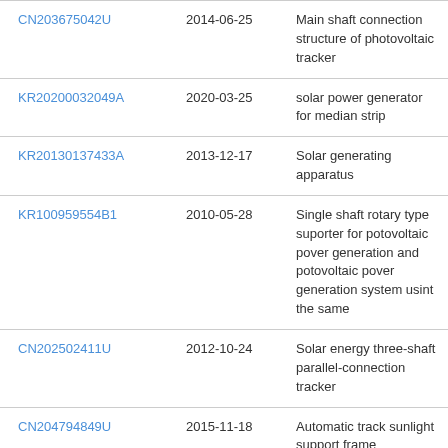| CN203675042U | 2014-06-25 | Main shaft connection structure of photovoltaic tracker |
| KR20200032049A | 2020-03-25 | solar power generator for median strip |
| KR20130137433A | 2013-12-17 | Solar generating apparatus |
| KR100959554B1 | 2010-05-28 | Single shaft rotary type suporter for potovoltaic pover generation and potovoltaic pover generation system usint the same |
| CN202502411U | 2012-10-24 | Solar energy three-shaft parallel-connection tracker |
| CN204794849U | 2015-11-18 | Automatic track sunlight support frame |
| KR100840400B1 | 2008-06-23 | Solar power plant having angle adjustment device |